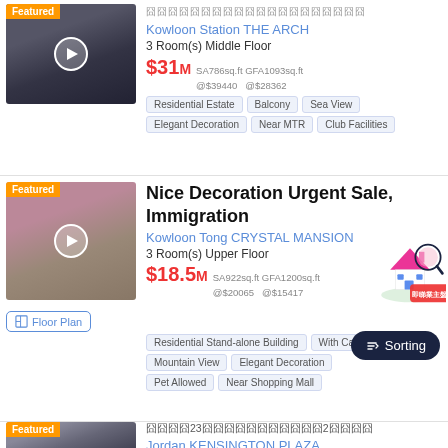[Figure (photo): Featured property photo of Kowloon Station THE ARCH high-rise towers]
囧囧囧囧囧囧囧囧囧囧囧囧囧囧囧囧囧囧囧囧
Kowloon Station THE ARCH
3 Room(s) Middle Floor
$31M  SA786sq.ft GFA1093sq.ft @$39440 @$28362
Residential Estate
Balcony
Sea View
Elegant Decoration
Near MTR
Club Facilities
[Figure (photo): Featured property interior photo of Kowloon Tong CRYSTAL MANSION]
Nice Decoration Urgent Sale, Immigration
Kowloon Tong CRYSTAL MANSION
3 Room(s) Upper Floor
$18.5M  SA922sq.ft GFA1200sq.ft @$20065 @$15417
Residential Stand-alone Building
With Carpark
Mountain View
Elegant Decoration
Pet Allowed
Near Shopping Mall
[Figure (photo): Featured property photo of Jordan KENSINGTON PLAZA]
囧囧囧囧23囧囧囧囧囧囧囧囧囧囧囧2囧囧囧囧
Jordan KENSINGTON PLAZA